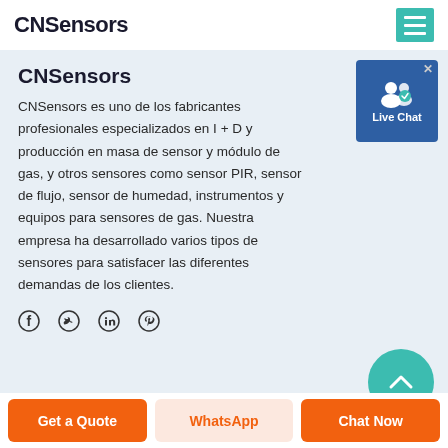CNSensors
CNSensors
[Figure (screenshot): Live Chat widget button with user icon and checkmark badge, on blue background]
CNSensors es uno de los fabricantes profesionales especializados en I + D y producción en masa de sensor y módulo de gas, y otros sensores como sensor PIR, sensor de flujo, sensor de humedad, instrumentos y equipos para sensores de gas. Nuestra empresa ha desarrollado varios tipos de sensores para satisfacer las diferentes demandas de los clientes.
[Figure (infographic): Social media icons row: Facebook, Twitter, LinkedIn, Pinterest]
[Figure (other): Teal/green circular button peeking from bottom right corner]
Get a Quote  WhatsApp  Chat Now